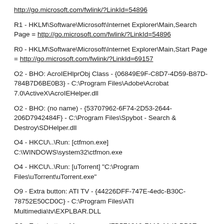http://go.microsoft.com/fwlink/?LinkId=54896
R1 - HKLM\Software\Microsoft\Internet Explorer\Main,Search Page = http://go.microsoft.com/fwlink/?LinkId=54896
R0 - HKLM\Software\Microsoft\Internet Explorer\Main,Start Page = http://go.microsoft.com/fwlink/?LinkId=69157
O2 - BHO: AcroIEHlprObj Class - {06849E9F-C8D7-4D59-B87D-784B7D6BE0B3} - C:\Program Files\Adobe\Acrobat 7.0\ActiveX\AcroIEHelper.dll
O2 - BHO: (no name) - {53707962-6F74-2D53-2644-206D7942484F} - C:\Program Files\Spybot - Search & Destroy\SDHelper.dll
O4 - HKCU\..\Run: [ctfmon.exe] C:\WINDOWS\system32\ctfmon.exe
O4 - HKCU\..\Run: [uTorrent] "C:\Program Files\uTorrent\uTorrent.exe"
O9 - Extra button: ATI TV - {44226DFF-747E-4edc-B30C-78752E50CD0C} - C:\Program Files\ATI Multimedia\tv\EXPLBAR.DLL
O9 - Extra button: Messenger - {FB5F1910-F110-11d2-BB9E-00C04F795683} - C:\Program Files\Messenger\msmsgs.exe